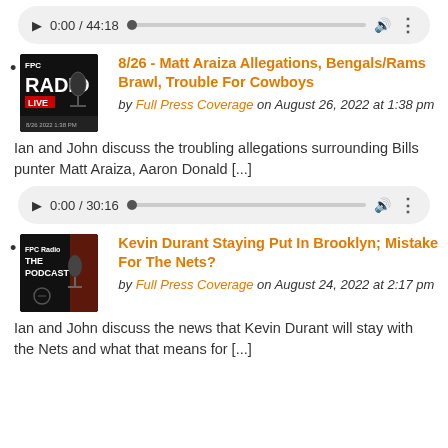[Figure (screenshot): Audio player showing 0:00 / 44:18 with play button, progress bar, volume and more icons on gray rounded background]
8/26 - Matt Araiza Allegations, Bengals/Rams Brawl, Trouble For Cowboys by Full Press Coverage on August 26, 2022 at 1:38 pm
Ian and John discuss the troubling allegations surrounding Bills punter Matt Araiza, Aaron Donald [...]
[Figure (screenshot): Audio player showing 0:00 / 30:16 with play button, progress bar, volume and more icons on gray rounded background]
Kevin Durant Staying Put In Brooklyn; Mistake For The Nets? by Full Press Coverage on August 24, 2022 at 2:17 pm
Ian and John discuss the news that Kevin Durant will stay with the Nets and what that means for [...]